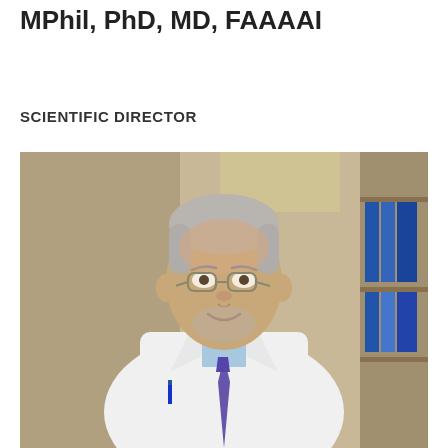MPhil, PhD, MD, FAAAAI
SCIENTIFIC DIRECTOR
[Figure (photo): Portrait photo of an elderly male physician with gray hair, glasses, and a white lab coat over a light blue shirt and patterned tie, smiling in a medical office/hallway setting with shelves visible in the background.]